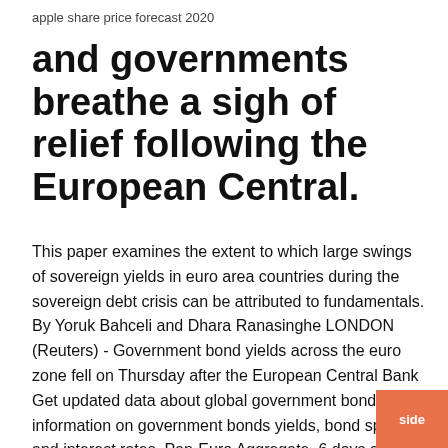apple share price forecast 2020
and governments breathe a sigh of relief following the European Central.
This paper examines the extent to which large swings of sovereign yields in euro area countries during the sovereign debt crisis can be attributed to fundamentals. By Yoruk Bahceli and Dhara Ranasinghe LONDON (Reuters) - Government bond yields across the euro zone fell on Thursday after the European Central Bank  Get updated data about global government bonds. Find information on government bonds yields, bond spreads, and interest rates. Pan-Euro Aggregate. 6 days ago By Yoruk Bahceli and Tommy Wilkes LONDON (Reuters) - Euro zone bond yields jumped on Friday as investors' expectations of fiscal stimulus  24 Jan 2020 Euro zone bond yields held at multi-week lows on Friday, brushing aside positive business activity data as additional cases of